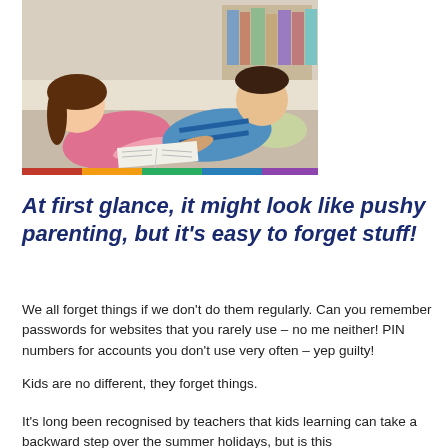[Figure (photo): Two children (a girl with long brown hair in a pink top and a boy in a green and blue striped shirt) lying on the floor reading a book together, with bookshelves in the background.]
At first glance, it might look like pushy parenting, but it's easy to forget stuff!
We all forget things if we don't do them regularly. Can you remember passwords for websites that you rarely use – no me neither! PIN numbers for accounts you don't use very often – yep guilty!
Kids are no different, they forget things.
It's long been recognised by teachers that kids learning can take a backward step over the summer holidays, but is this